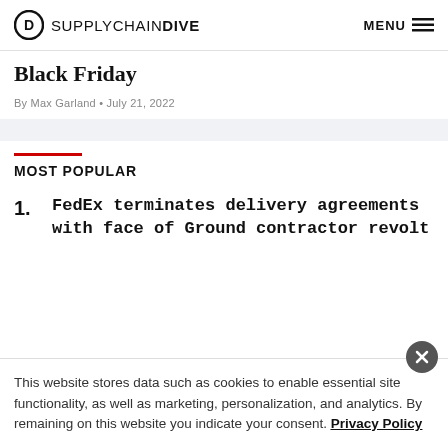SUPPLYCHAIN DIVE  MENU
Black Friday
By Max Garland • July 21, 2022
MOST POPULAR
1. FedEx terminates delivery agreements with face of Ground contractor revolt
This website stores data such as cookies to enable essential site functionality, as well as marketing, personalization, and analytics. By remaining on this website you indicate your consent. Privacy Policy